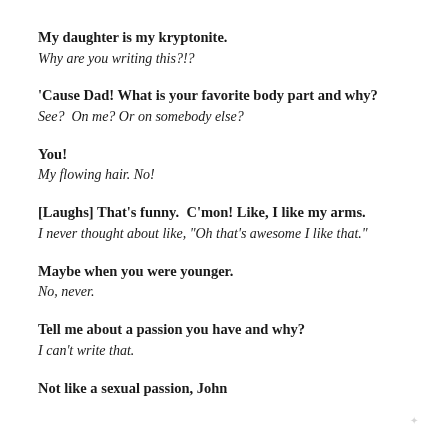My daughter is my kryptonite.
Why are you writing this?!?
'Cause Dad! What is your favorite body part and why?
See?  On me? Or on somebody else?
You!
My flowing hair. No!
[Laughs] That's funny.  C'mon! Like, I like my arms.
I never thought about like, "Oh that's awesome I like that."
Maybe when you were younger.
No, never.
Tell me about a passion you have and why?
I can't write that.
Not like a sexual passion, John